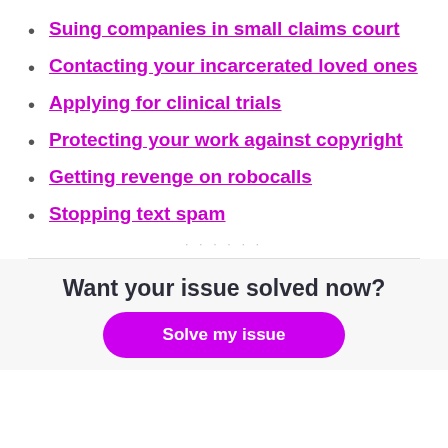Suing companies in small claims court
Contacting your incarcerated loved ones
Applying for clinical trials
Protecting your work against copyright
Getting revenge on robocalls
Stopping text spam
Want your issue solved now?
Solve my issue